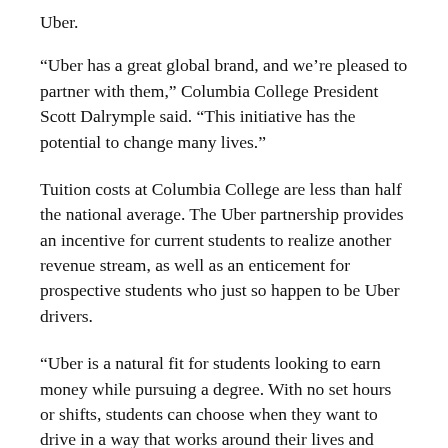Uber.
“Uber has a great global brand, and we’re pleased to partner with them,” Columbia College President Scott Dalrymple said. “This initiative has the potential to change many lives.”
Tuition costs at Columbia College are less than half the national average. The Uber partnership provides an incentive for current students to realize another revenue stream, as well as an enticement for prospective students who just so happen to be Uber drivers.
“Uber is a natural fit for students looking to earn money while pursuing a degree. With no set hours or shifts, students can choose when they want to drive in a way that works around their lives and class schedule, not the other way around,” said Andy Hung, Uber Missouri